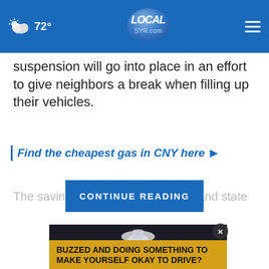72° LOCAL SYR.com
suspension will go into place in an effort to give neighbors a break when filling up their vehicles.
| Find the cheapest gas in CNY here >
The savings wi… unty and state
CONTINUE READING
[Figure (photo): Hand holding a white bottle/jug, dark background, partially obscured by overlay elements]
BUZZED AND DOING SOMETHING TO MAKE YOURSELF OKAY TO DRIVE?